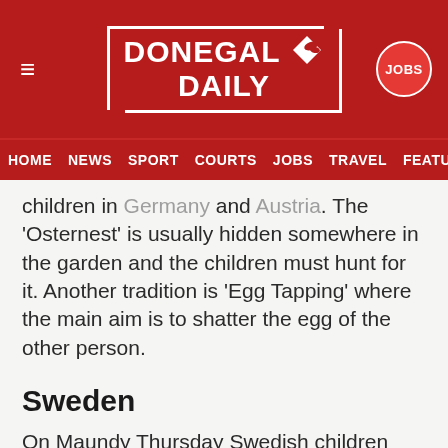Donegal Daily — Navigation bar with HOME, NEWS, SPORT, COURTS, JOBS, TRAVEL, FEATU...
children in Germany and Austria. The 'Osternest' is usually hidden somewhere in the garden and the children must hunt for it. Another tradition is 'Egg Tapping' where the main aim is to shatter the egg of the other person.
Sweden
On Maundy Thursday Swedish children dress up as 'Easter Hags', which sounds more like Halloween! Easter superstitions include the belief in witches and their black magic being